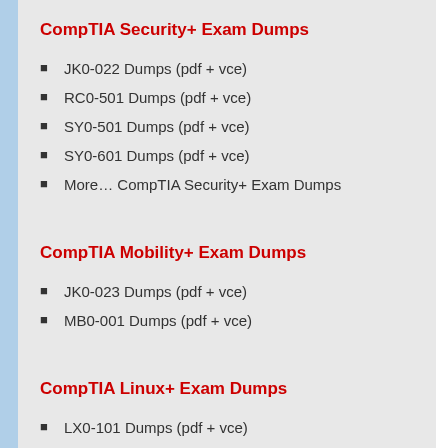CompTIA Security+ Exam Dumps
JK0-022 Dumps (pdf + vce)
RC0-501 Dumps (pdf + vce)
SY0-501 Dumps (pdf + vce)
SY0-601 Dumps (pdf + vce)
More… CompTIA Security+ Exam Dumps
CompTIA Mobility+ Exam Dumps
JK0-023 Dumps (pdf + vce)
MB0-001 Dumps (pdf + vce)
CompTIA Linux+ Exam Dumps
LX0-101 Dumps (pdf + vce)